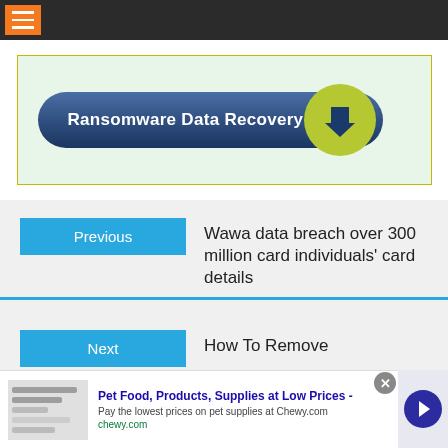Navigation bar with hamburger menu
[Figure (illustration): Ransomware Data Recovery button graphic: a dark blue pill-shaped button with white text 'Ransomware Data Recovery' and a green circle with a blue download arrow, on a light green background with yellow border]
Previous   Wawa data breach over 300 million card individuals' card details
Next   How To Remove
Pet Food, Products, Supplies at Low Prices -
Pay the lowest prices on pet supplies at Chewy.com
chewy.com